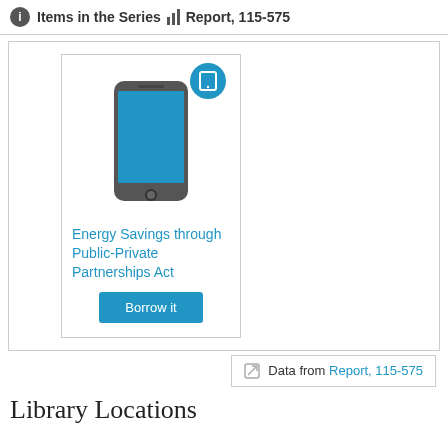1 Items in the Series  Report, 115-575
[Figure (illustration): A smartphone icon with a blue tablet badge overlay, inside a card. Below the image is the title 'Energy Savings through Public-Private Partnerships Act' in blue text, and a 'Borrow it' button in blue.]
Energy Savings through Public-Private Partnerships Act
Data from Report, 115-575
Library Locations